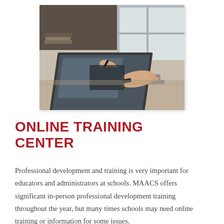[Figure (photo): Close-up photo of a person's hands using a laptop computer at a desk, with a pen/stylus in one hand and books in the background near a window]
ONLINE TRAINING CENTER
Professional development and training is very important for educators and administrators at schools. MAACS offers significant in-person professional development training throughout the year, but many times schools may need online training or information for some issues.